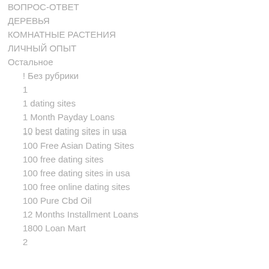ВОПРОС-ОТВЕТ
ДЕРЕВЬЯ
КОМНАТНЫЕ РАСТЕНИЯ
ЛИЧНЫЙ ОПЫТ
Остальное
! Без рубрики
1
1 dating sites
1 Month Payday Loans
10 best dating sites in usa
100 Free Asian Dating Sites
100 free dating sites
100 free dating sites in usa
100 free online dating sites
100 Pure Cbd Oil
12 Months Installment Loans
1800 Loan Mart
2